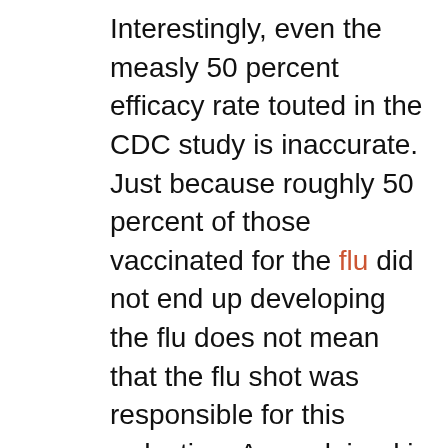Interestingly, even the measly 50 percent efficacy rate touted in the CDC study is inaccurate. Just because roughly 50 percent of those vaccinated for the flu did not end up developing the flu does not mean that the flu shot was responsible for this reduction. As explained in the CDC study (but not necessarily by the mainstream media), a large percentage of those who did not get the flu shot also did not get the flu. According to the data, fewer than 40 percent of all participants, both vaccinated and unvaccinated, contracted the flu, while the other 60 plus percent